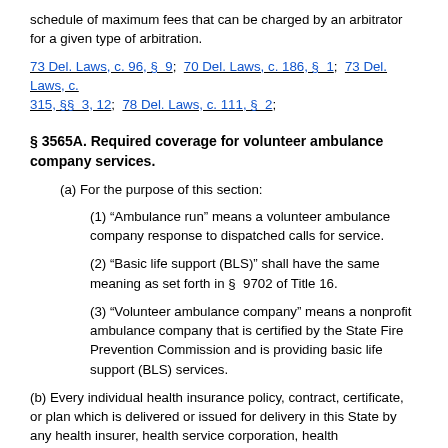schedule of maximum fees that can be charged by an arbitrator for a given type of arbitration.
73 Del. Laws, c. 96, § 9;  70 Del. Laws, c. 186, § 1;  73 Del. Laws, c. 315, §§ 3, 12;  78 Del. Laws, c. 111, § 2;
§ 3565A. Required coverage for volunteer ambulance company services.
(a) For the purpose of this section:
(1) “Ambulance run” means a volunteer ambulance company response to dispatched calls for service.
(2) “Basic life support (BLS)” shall have the same meaning as set forth in § 9702 of Title 16.
(3) “Volunteer ambulance company” means a nonprofit ambulance company that is certified by the State Fire Prevention Commission and is providing basic life support (BLS) services.
(b) Every individual health insurance policy, contract, certificate, or plan which is delivered or issued for delivery in this State by any health insurer, health service corporation, health maintenance organization, or managed care organization shall include coverage of not less than the cost of every ambulance run and associated basic life support (BLS) services provided by a volunteer ambulance company.